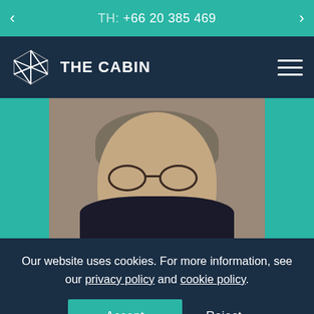TH: +66 20 385 469
[Figure (logo): The Cabin logo with geometric building icon and wordmark 'THE CABIN']
[Figure (photo): Close-up headshot of a middle-aged man with grey hair, round wire-frame glasses, and a beard, wearing a dark jacket]
Our website uses cookies. For more information, see our privacy policy and cookie policy.
Accept   Reject